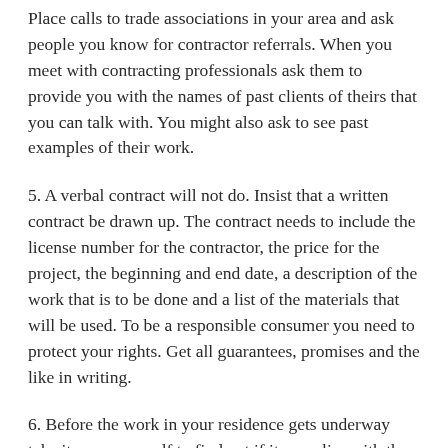Place calls to trade associations in your area and ask people you know for contractor referrals. When you meet with contracting professionals ask them to provide you with the names of past clients of theirs that you can talk with. You might also ask to see past examples of their work.
5. A verbal contract will not do. Insist that a written contract be drawn up. The contract needs to include the license number for the contractor, the price for the project, the beginning and end date, a description of the work that is to be done and a list of the materials that will be used. To be a responsible consumer you need to protect your rights. Get all guarantees, promises and the like in writing.
6. Before the work in your residence gets underway take it upon yourself to find out if it complies with the city as well as the county codes in your area. If a building permit will be a necessary aspect of the work then speak with the contracting individual who is responsible for seeing that all